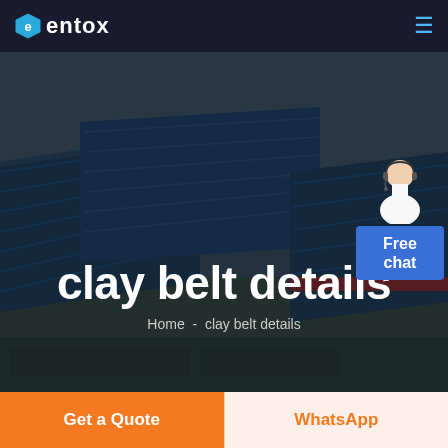entox
[Figure (photo): Aerial view of a large industrial factory complex with blue rooftops, taken from a high angle. The facility has multiple large warehouse-style buildings with dark blue metal roofs, surrounded by paved areas and open land in the background.]
clay belt details
Home  -  clay belt details
Free chat
Get a Quote
WhatsApp